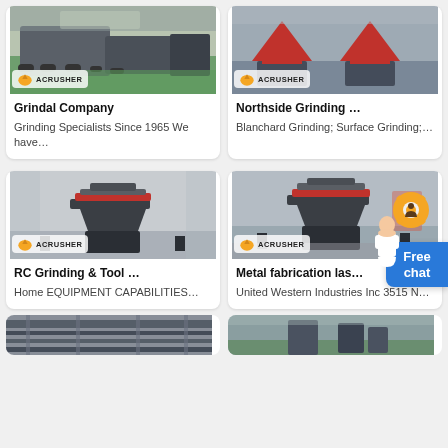[Figure (photo): Industrial mobile crusher machine on green floor with ACRUSHER logo badge]
[Figure (photo): Industrial cone crushers in warehouse with ACRUSHER logo badge]
Grindal Company
Grinding Specialists Since 1965 We have…
Northside Grinding …
Blanchard Grinding; Surface Grinding;…
[Figure (photo): Large VSI vertical shaft impact crusher inside factory with ACRUSHER logo badge]
[Figure (photo): VSI crusher machine outdoors with orange gear icon overlay and ACRUSHER logo badge]
RC Grinding & Tool …
Home EQUIPMENT CAPABILITIES…
Metal fabrication las…
United Western Industries Inc 3515 N…
[Figure (photo): Bottom partial card showing industrial equipment close-up]
[Figure (photo): Bottom partial card showing industrial machine outdoors]